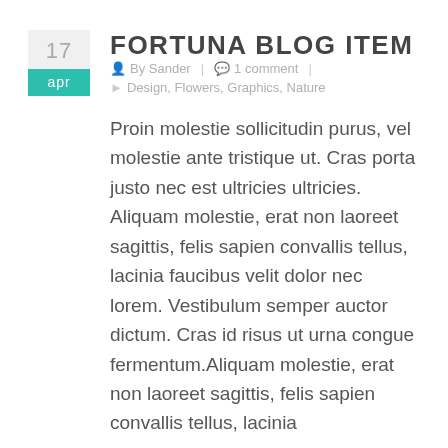FORTUNA BLOG ITEM
By Sander | 1 comment | Design, Flowers, Graphics, Nature
Proin molestie sollicitudin purus, vel molestie ante tristique ut. Cras porta justo nec est ultricies ultricies. Aliquam molestie, erat non laoreet sagittis, felis sapien convallis tellus, lacinia faucibus velit dolor nec lorem. Vestibulum semper auctor dictum. Cras id risus ut urna congue fermentum.Aliquam molestie, erat non laoreet sagittis, felis sapien convallis tellus, lacinia